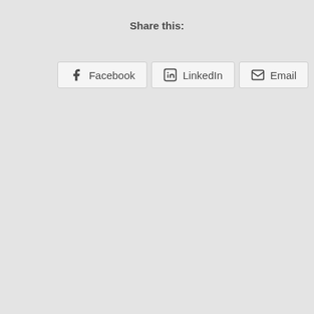Share this:
[Figure (other): Social share buttons for Facebook, LinkedIn, and Email (partially cropped on right edge)]